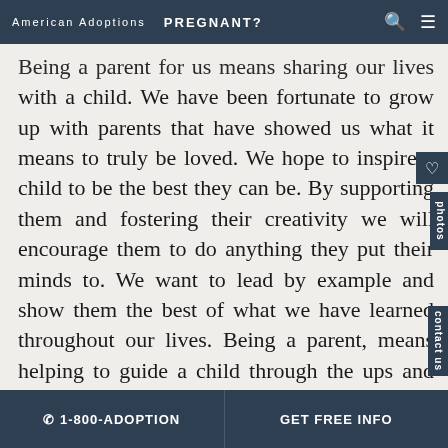American Adoptions   PREGNANT?
Being a parent for us means sharing our lives with a child. We have been fortunate to grow up with parents that have showed us what it means to truly be loved. We hope to inspire a child to be the best they can be. By supporting them and fostering their creativity we will encourage them to do anything they put their minds to. We want to lead by example and show them the best of what we have learned throughout our lives. Being a parent, means helping to guide a child through the ups and downs, and highs and lows. What we look forward to most is watching a child grow up and being present for all that life has to offer.
☎ 1-800-ADOPTION   GET FREE INFO